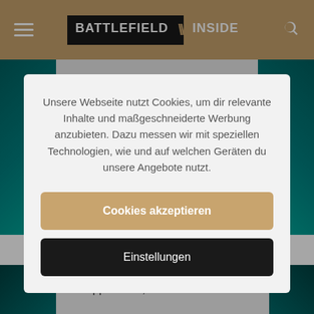BATTLEFIELD INSIDE
Unsere Webseite nutzt Cookies, um dir relevante Inhalte und maßgeschneiderte Werbung anzubieten. Dazu messen wir mit speziellen Technologien, wie und auf welchen Geräten du unsere Angebote nutzt.
Cookies akzeptieren
Einstellungen
Ich tippe auf 9,89GB.